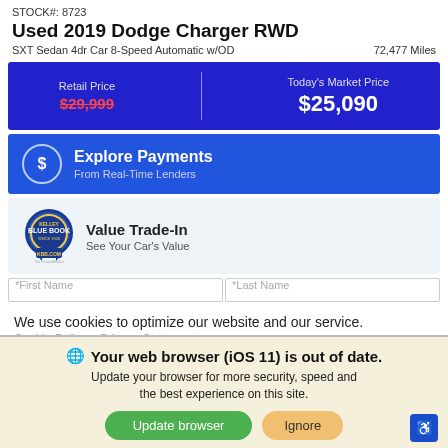STOCK#: 8723
Used 2019 Dodge Charger RWD
SXT Sedan 4dr Car 8-Speed Automatic w/OD    72,477 Miles
Retail Price $29,999   |   Today's Market Price $25,090
Explore Payments – From Real-Time Lenders
Value Trade-In – See Your Car's Value
*First Name   *Last Name
We use cookies to optimize our website and our service.
Cookie Policy   Privacy Statement
Your web browser (iOS 11) is out of date. Update your browser for more security, speed and the best experience on this site.
Update browser   Ignore